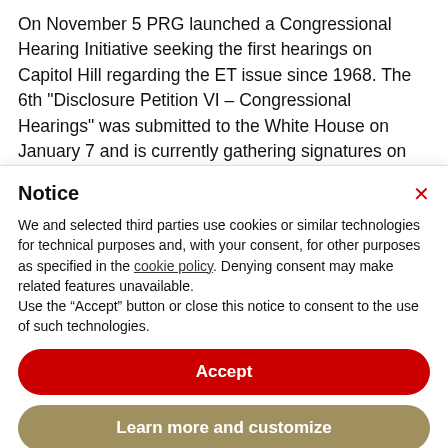On November 5 PRG launched a Congressional Hearing Initiative seeking the first hearings on Capitol Hill regarding the ET issue since 1968. The 6th “Disclosure Petition VI – Congressional Hearings” was submitted to the White House on January 7 and is currently gathering signatures on the White House
Notice
We and selected third parties use cookies or similar technologies for technical purposes and, with your consent, for other purposes as specified in the cookie policy. Denying consent may make related features unavailable.
Use the “Accept” button or close this notice to consent to the use of such technologies.
Accept
Learn more and customize